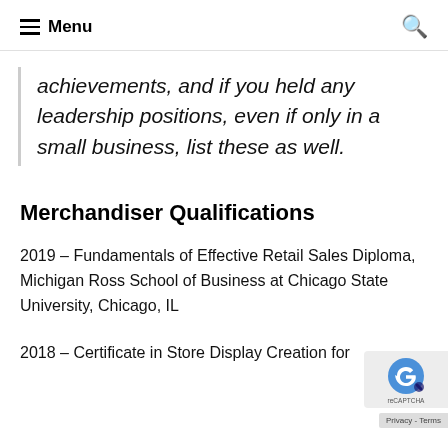Menu
achievements, and if you held any leadership positions, even if only in a small business, list these as well.
Merchandiser Qualifications
2019 – Fundamentals of Effective Retail Sales Diploma, Michigan Ross School of Business at Chicago State University, Chicago, IL
2018 – Certificate in Store Display Creation fo...